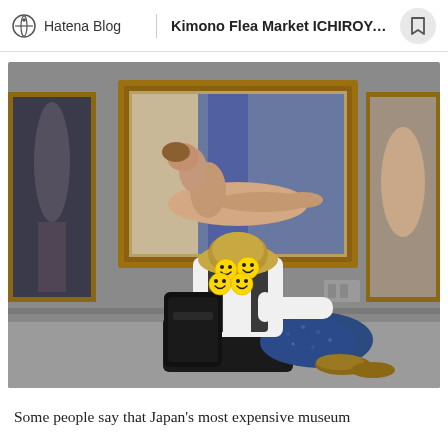Hatena Blog | Kimono Flea Market ICHIROYA's...
[Figure (photo): Person sitting on a bench in an art museum viewing classical paintings on the wall. The person faces away from the camera, wearing a hat with emoji stickers on their face, a white shirt, dark vest, blue floral skirt, and brown shoes. Behind them on the wall are classical nude paintings in gold frames on a grey wall.]
Some people say that Japan's most expensive museum